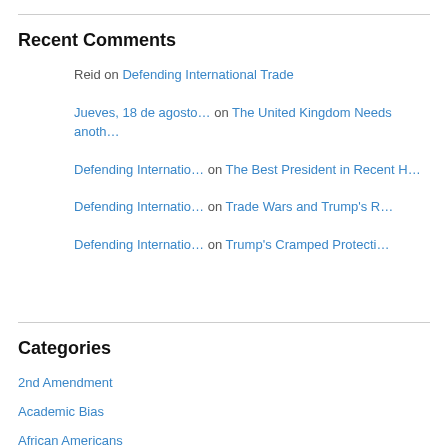Recent Comments
Reid on Defending International Trade
Jueves, 18 de agosto… on The United Kingdom Needs anoth…
Defending Internatio… on The Best President in Recent H…
Defending Internatio… on Trade Wars and Trump's R…
Defending Internatio… on Trump's Cramped Protecti…
Categories
2nd Amendment
Academic Bias
African Americans